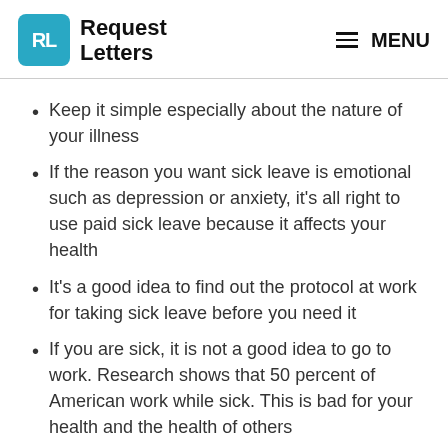RL Request Letters MENU
Keep it simple especially about the nature of your illness
If the reason you want sick leave is emotional such as depression or anxiety, it's all right to use paid sick leave because it affects your health
It's a good idea to find out the protocol at work for taking sick leave before you need it
If you are sick, it is not a good idea to go to work. Research shows that 50 percent of American work while sick. This is bad for your health and the health of others